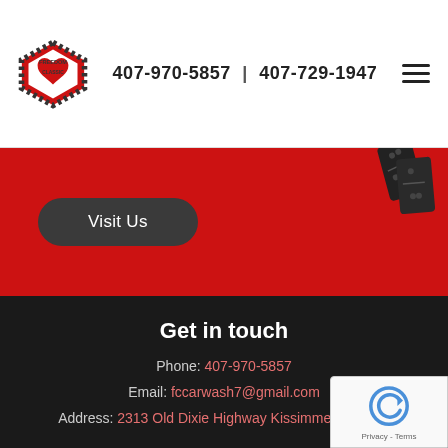[Figure (logo): Freedom Classic car wash logo — shield shape with checkered border, red heart, text FREEDOM CLASSIC]
407-970-5857 | 407-729-1947
[Figure (illustration): Hamburger menu icon (three horizontal lines)]
[Figure (illustration): Dark domino tiles in upper right corner of red banner]
Visit Us
Get in touch
Phone: 407-970-5857
Email: fccarwash7@gmail.com
Address: 2313 Old Dixie Highway Kissimmee, FL 347
[Figure (illustration): Google reCAPTCHA badge with logo and Privacy - Terms text]